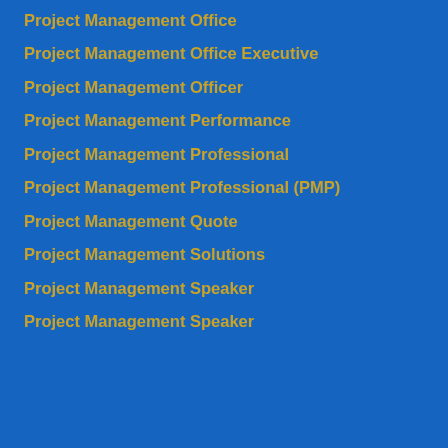Project Management Office
Project Management Office Executive
Project Management Officer
Project Management Performance
Project Management Professional
Project Management Professional (PMP)
Project Management Quote
Project Management Solutions
Project Management Speaker
Project Management Speaker